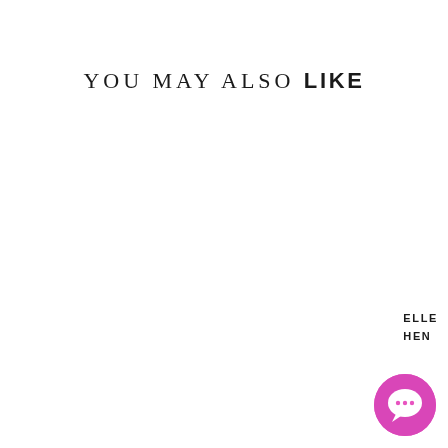YOU MAY ALSO LIKE
ELLE
HEN
[Figure (illustration): Pink/magenta circular chat bubble icon with speech bubble containing ellipsis dots, positioned in bottom-right corner]